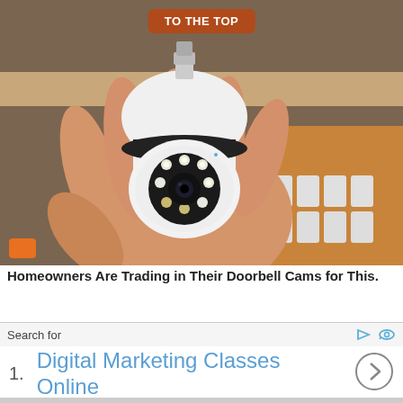[Figure (photo): A hand holding a white PTZ security camera shaped like a light bulb, with multiple LED lights around the lens. Background shows wooden shelving and boxed items.]
TO THE TOP
Homeowners Are Trading in Their Doorbell Cams for This.
Search for
1. Digital Marketing Classes Online